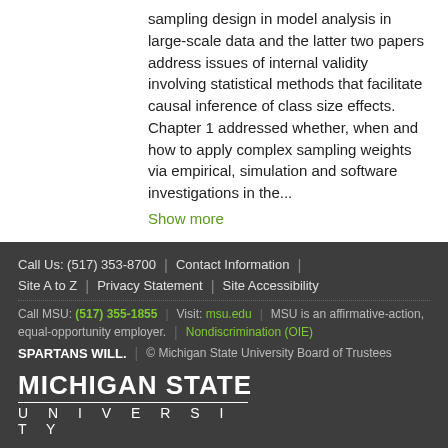sampling design in model analysis in large-scale data and the latter two papers address issues of internal validity involving statistical methods that facilitate causal inference of class size effects. Chapter 1 addressed whether, when and how to apply complex sampling weights via empirical, simulation and software investigations in the...
Show more
Call Us: (517) 353-8700 | Contact Information | Site A to Z | Privacy Statement | Site Accessibility | Call MSU: (517) 355-1855 | Visit: msu.edu | MSU is an affirmative-action, equal-opportunity employer. | Nondiscrimination (OIE) | SPARTANS WILL. | © Michigan State University Board of Trustees | MICHIGAN STATE UNIVERSITY